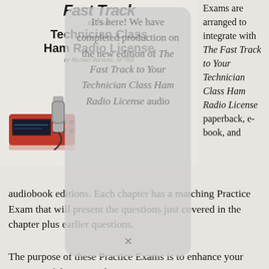[Figure (illustration): Book cover for 'The Fast Track to Your Technician Class Ham Radio License by Michael Burnette, AF7KB' showing a red radio transceiver and a hand holding a microphone.]
[Figure (screenshot): A semi-transparent popup/modal overlay showing faded italic text: 'It's here! We have completed production on the new edition of The Fast Track to Your Technician Class Ham Radio License audio...' with a close button at bottom.]
Exams are arranged to integrate with The Fast Track to Your Technician Class Ham Radio License paperback, e-book, and audiobook editions. Each chapter has a matching Practice Exam that will present the questions just covered in the chapter plus earlier questions.
The purpose of these Practice Exams is to enhance your memory of the material